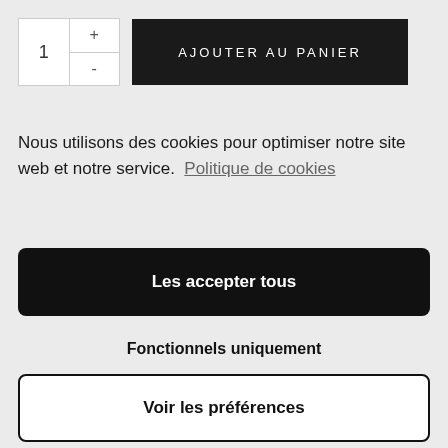[Figure (screenshot): Quantity selector with number 1 and plus/minus buttons, and a dark 'AJOUTER AU PANIER' button]
Nous utilisons des cookies pour optimiser notre site web et notre service.  Politique de cookies
Les accepter tous
Fonctionnels uniquement
Voir les préférences